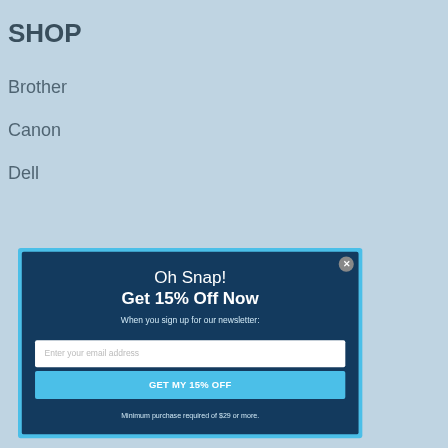SHOP
Brother
Canon
Dell
Oh Snap!
Get 15% Off Now
When you sign up for our newsletter:
Enter your email address
GET MY 15% OFF
Minimum purchase required of $29 or more.